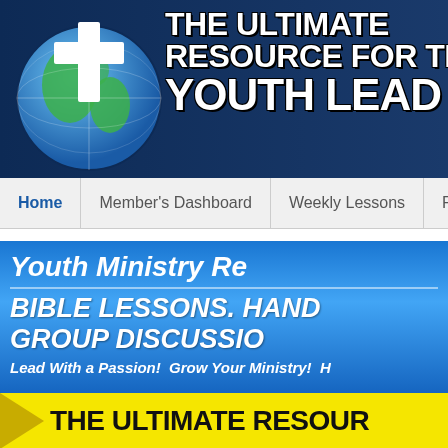[Figure (screenshot): Website header banner with globe and cross logo and text 'THE ULTIMATE RESOURCE FOR THE YOUTH LEADER' on dark blue background]
Home | Member's Dashboard | Weekly Lessons | Po...
[Figure (illustration): Blue promotional banner reading 'Youth Ministry Re... BIBLE LESSONS. HAND... GROUP DISCUSSIO... Lead With a Passion! Grow Your Ministry! H...']
[Figure (illustration): Yellow banner reading 'THE ULTIMATE RESOUR...']
« Drink To Your Health    Youth Ministry: Hold T...